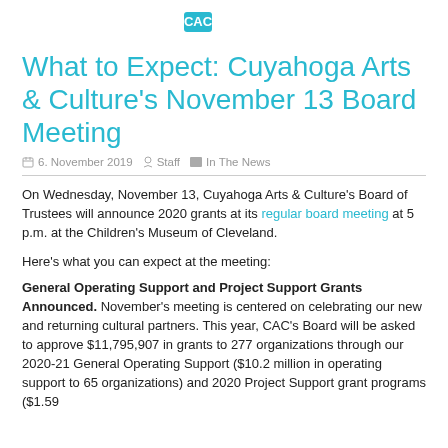[Figure (logo): Cuyahoga Arts & Culture logo (partial, top of page)]
What to Expect: Cuyahoga Arts & Culture's November 13 Board Meeting
6. November 2019   Staff   In The News
On Wednesday, November 13, Cuyahoga Arts & Culture's Board of Trustees will announce 2020 grants at its regular board meeting at 5 p.m. at the Children's Museum of Cleveland.
Here's what you can expect at the meeting:
General Operating Support and Project Support Grants Announced. November's meeting is centered on celebrating our new and returning cultural partners. This year, CAC's Board will be asked to approve $11,795,907 in grants to 277 organizations through our 2020-21 General Operating Support ($10.2 million in operating support to 65 organizations) and 2020 Project Support grant programs ($1.59…